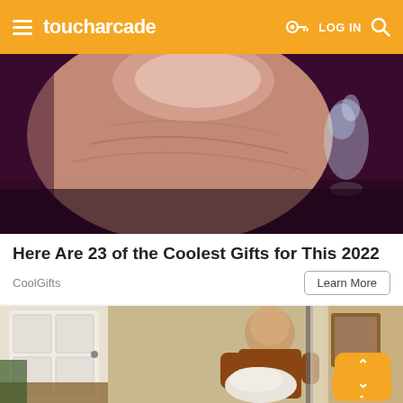toucharcade — LOG IN
[Figure (photo): Close-up photo of a human thumb/finger against a dark purple background with a small glass figurine]
Here Are 23 of the Coolest Gifts for This 2022
CoolGifts
[Figure (photo): Photo of a middle-aged balding man in a brown polo shirt carrying laundry/towels, standing near a staircase lift in a home entryway]